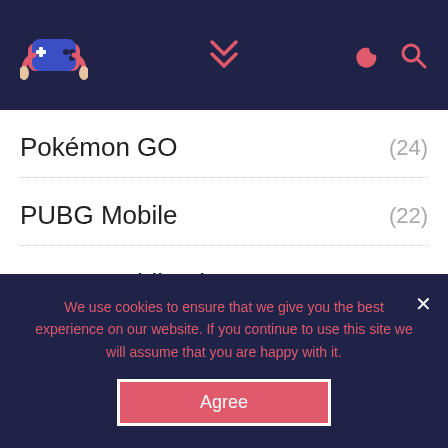Navigation header with logo, chevron, moon and search icons
Pokémon GO (24)
PUBG Mobile (22)
PUBG Mobile Lite (14)
ARCHIVES
April 2021 (1)
We use cookies to ensure that we give you the best experience on our website. If you continue to use this site we will assume that you are happy with it.